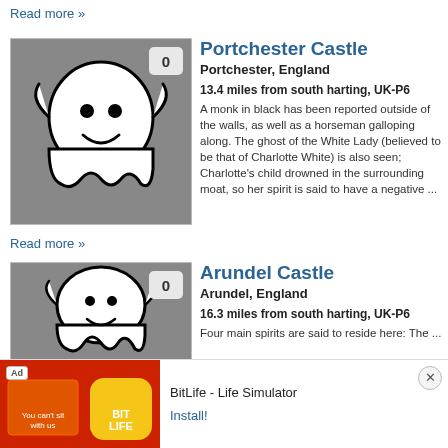Read more »
[Figure (illustration): Ghost icon thumbnail for Portchester Castle with badge showing 0]
Portchester Castle
Portchester, England
13.4 miles from south harting, UK-P6
A monk in black has been reported outside of the walls, as well as a horseman galloping along. The ghost of the White Lady (believed to be that of Charlotte White) is also seen; Charlotte's child drowned in the surrounding moat, so her spirit is said to have a negative ...
Read more »
[Figure (illustration): Ghost icon thumbnail for Arundel Castle with badge showing 0]
Arundel Castle
Arundel, England
16.3 miles from south harting, UK-P6
Four main spirits are said to reside here: The ...
[Figure (screenshot): Ad banner for BitLife - Life Simulator with Install button and close button]